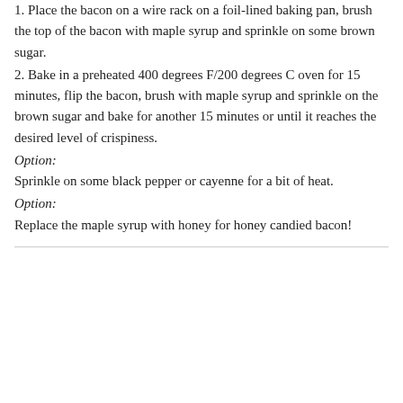1. Place the bacon on a wire rack on a foil-lined baking pan, brush the top of the bacon with maple syrup and sprinkle on some brown sugar.
2. Bake in a preheated 400 degrees F/200 degrees C oven for 15 minutes, flip the bacon, brush with maple syrup and sprinkle on the brown sugar and bake for another 15 minutes or until it reaches the desired level of crispiness.
Option:
Sprinkle on some black pepper or cayenne for a bit of heat.
Option:
Replace the maple syrup with honey for honey candied bacon!